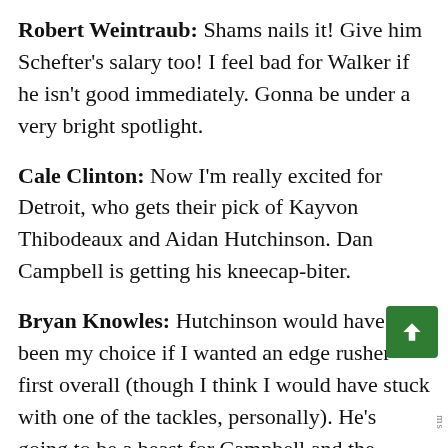Robert Weintraub: Shams nails it! Give him Schefter's salary too! I feel bad for Walker if he isn't good immediately. Gonna be under a very bright spotlight.
Cale Clinton: Now I'm really excited for Detroit, who gets their pick of Kayvon Thibodeaux and Aidan Hutchinson. Dan Campbell is getting his kneecap-biter.
Bryan Knowles: Hutchinson would have been my choice if I wanted an edge rusher first overall (though I think I would have stuck with one of the tackles, personally). He's going to be a beast for Campbell and the Lions.
Cale Clinton: I worry that I have bought into the "T-Rex arms" meme with Hutchinson, which makes me nervous about his ceiling in the NFL. But from what I have watched, he's got a great package of